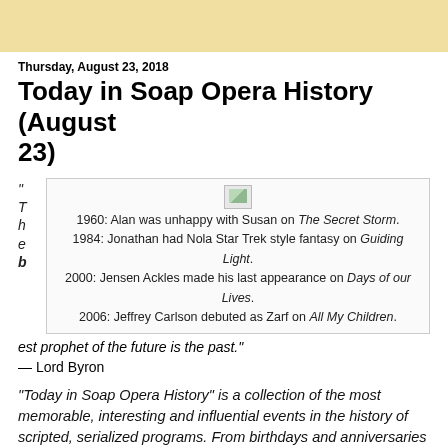Thursday, August 23, 2018
Today in Soap Opera History (August 23)
[Figure (other): Broken image thumbnail above infobox with soap opera history entries: 1960: Alan was unhappy with Susan on The Secret Storm. 1984: Jonathan had Nola Star Trek style fantasy on Guiding Light. 2000: Jensen Ackles made his last appearance on Days of our Lives. 2006: Jeffrey Carlson debuted as Zarf on All My Children.]
"The best prophet of the future is the past."
— Lord Byron
"Today in Soap Opera History" is a collection of the most memorable, interesting and influential events in the history of scripted, serialized programs. From birthdays and anniversaries to scandals and controversies, every day this column celebrates the soap opera in American culture.
On this date in...